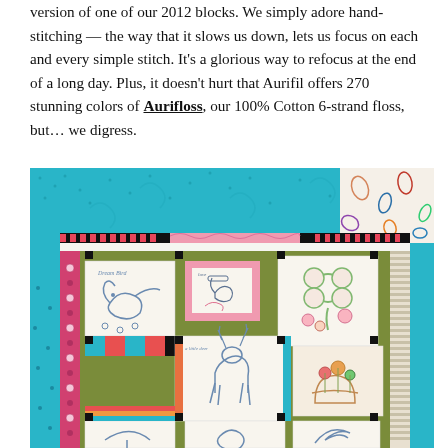version of one of our 2012 blocks. We simply adore hand-stitching — the way that it slows us down, lets us focus on each and every simple stitch. It's a glorious way to refocus at the end of a long day. Plus, it doesn't hurt that Aurifil offers 270 stunning colors of Aurifloss, our 100% Cotton 6-strand floss, but… we digress.
[Figure (photo): Close-up photograph of a colorful quilt with hand-embroidered blocks showing various designs including birds, clovers, deer, and floral motifs, set in a patchwork of teal, pink, orange, green, and black fabrics.]